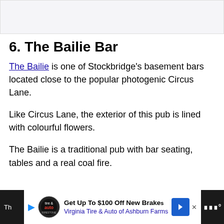[Figure (photo): Top image area, partially visible, light gray/blue background]
6. The Bailie Bar
The Bailie is one of Stockbridge's basement bars located close to the popular photogenic Circus Lane.
Like Circus Lane, the exterior of this pub is lined with colourful flowers.
The Bailie is a traditional pub with bar seating, tables and a real coal fire.
Get Up To $100 Off New Brakes Virginia Tire & Auto of Ashburn Farms